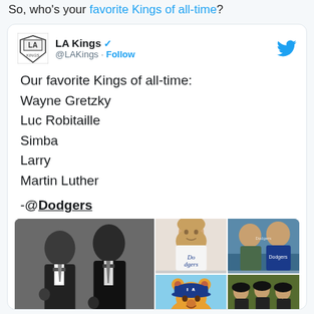So, who's your favorite Kings of all-time?
[Figure (screenshot): Tweet from @LAKings account listing favorite Kings of all-time: Wayne Gretzky, Luc Robitaille, Simba, Larry, Martin Luther, attributed to -@Dodgers. Includes a collage of photos: MLK and Jackie Robinson in black and white, Wayne Gretzky in Dodgers jersey, two men in Dodgers gear, Simba cartoon wearing Dodgers hat, baseball players on field.]